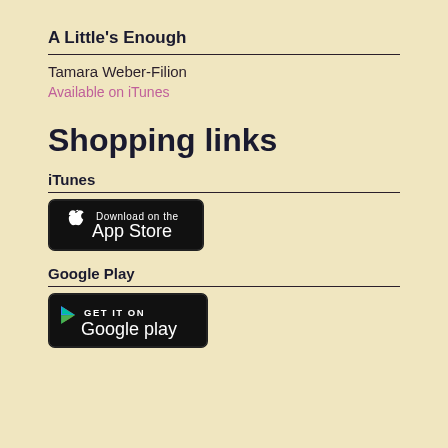A Little's Enough
Tamara Weber-Filion
Available on iTunes
Shopping links
iTunes
[Figure (logo): Download on the App Store badge — black rounded rectangle with Apple logo and text 'Download on the App Store']
Google Play
[Figure (logo): Get it on Google Play badge — black rounded rectangle with Google Play triangle logo and text 'GET IT ON Google play']